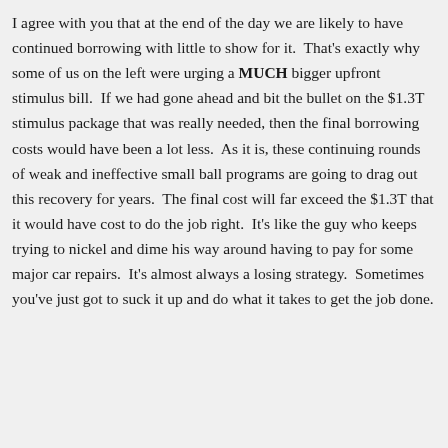I agree with you that at the end of the day we are likely to have continued borrowing with little to show for it.  That's exactly why some of us on the left were urging a MUCH bigger upfront stimulus bill.  If we had gone ahead and bit the bullet on the $1.3T stimulus package that was really needed, then the final borrowing costs would have been a lot less.  As it is, these continuing rounds of weak and ineffective small ball programs are going to drag out this recovery for years.  The final cost will far exceed the $1.3T that it would have cost to do the job right.  It's like the guy who keeps trying to nickel and dime his way around having to pay for some major car repairs.  It's almost always a losing strategy.  Sometimes you've just got to suck it up and do what it takes to get the job done.